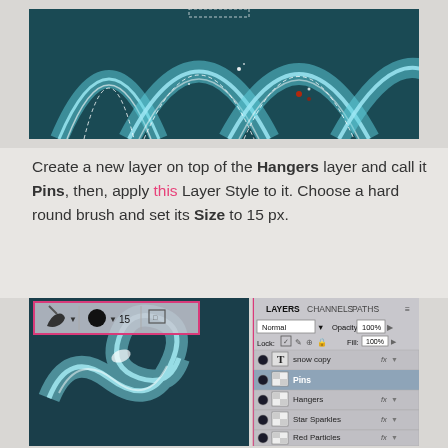[Figure (screenshot): Top image showing glowing teal/blue arch shapes with dashed selection outlines on a dark textured background, partially cropped at top]
Create a new layer on top of the Hangers layer and call it Pins, then, apply this Layer Style to it. Choose a hard round brush and set its Size to 15 px.
[Figure (screenshot): Bottom screenshot showing Photoshop layers panel with layers: snow copy, Pins (selected/highlighted), Hangers, Star Sparkles, Red Particles. Also shows brush toolbar with size 15 highlighted in pink border. Background shows teal swirling shape on dark texture.]